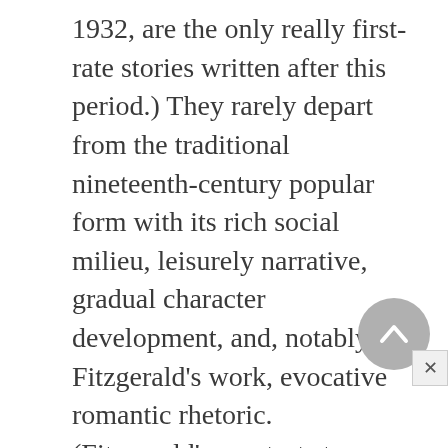1932, are the only really first-rate stories written after this period.) They rarely depart from the traditional nineteenth-century popular form with its rich social milieu, leisurely narrative, gradual character development, and, notably in Fitzgerald's work, evocative romantic rhetoric. (Fitzgerald's greatest story, "Babylon Revisited," combines a multi-episodic plot and unhurried characterization with economy of language, narrative simplicity, and rich